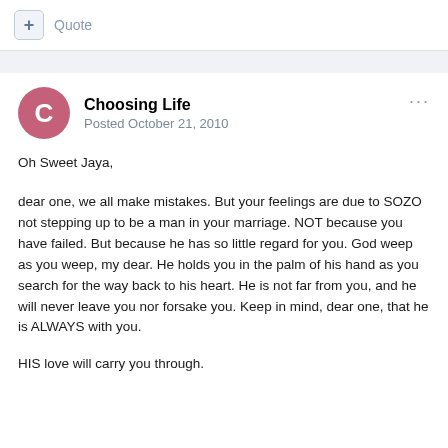+ Quote
Choosing Life
Posted October 21, 2010
Oh Sweet Jaya,
dear one, we all make mistakes. But your feelings are due to SOZO not stepping up to be a man in your marriage. NOT because you have failed. But because he has so little regard for you. God weep as you weep, my dear. He holds you in the palm of his hand as you search for the way back to his heart. He is not far from you, and he will never leave you nor forsake you. Keep in mind, dear one, that he is ALWAYS with you.
HIS love will carry you through.